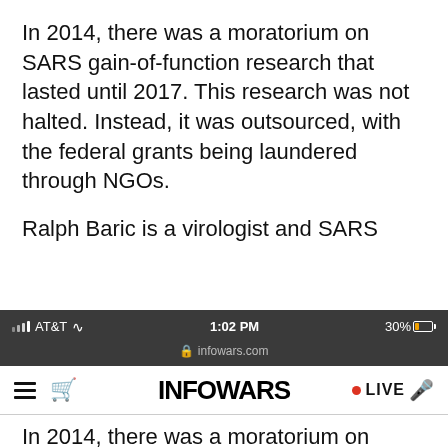In 2014, there was a moratorium on SARS gain-of-function research that lasted until 2017. This research was not halted. Instead, it was outsourced, with the federal grants being laundered through NGOs.
Ralph Baric is a virologist and SARS
[Figure (screenshot): Mobile status bar showing AT&T carrier, WiFi signal, 1:02 PM time, infowars.com URL, 30% battery]
[Figure (screenshot): INFOWARS browser header with hamburger menu, cart icon, INFOWARS logo, LIVE button with microphone]
In 2014, there was a moratorium on SARS gain-of-function research that lasted